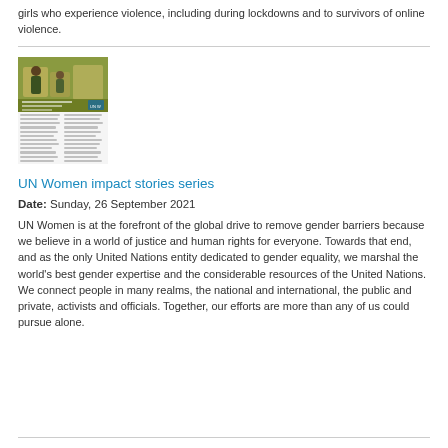girls who experience violence, including during lockdowns and to survivors of online violence.
[Figure (illustration): Thumbnail image showing a UN Women impact stories series document cover with people at a desk and a two-column text layout below.]
UN Women impact stories series
Date: Sunday, 26 September 2021
UN Women is at the forefront of the global drive to remove gender barriers because we believe in a world of justice and human rights for everyone. Towards that end, and as the only United Nations entity dedicated to gender equality, we marshal the world's best gender expertise and the considerable resources of the United Nations. We connect people in many realms, the national and international, the public and private, activists and officials. Together, our efforts are more than any of us could pursue alone.